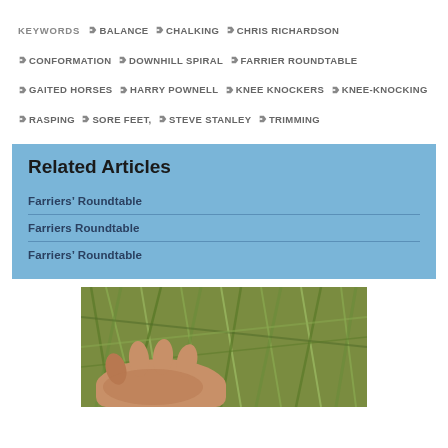KEYWORDS  BALANCE  CHALKING  CHRIS RICHARDSON  CONFORMATION  DOWNHILL SPIRAL  FARRIER ROUNDTABLE  GAITED HORSES  HARRY POWNELL  KNEE KNOCKERS  KNEE-KNOCKING  RASPING  SORE FEET,  STEVE STANLEY  TRIMMING
Related Articles
Farriers' Roundtable
Farriers Roundtable
Farriers' Roundtable
[Figure (photo): Close-up photograph of a person's hand holding green hay or grass clippings]